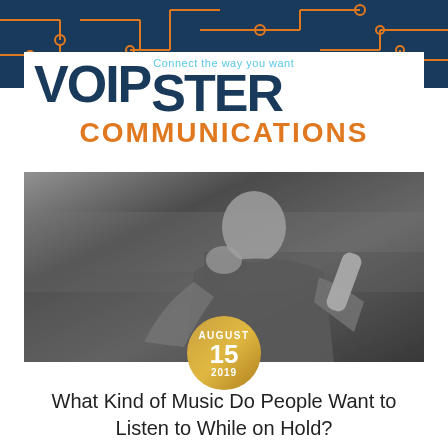[Figure (logo): VOIPster Communications logo with circuit board background. Dark navy background with orange circuit board traces. White bar contains 'VOIP' and 'ster' in dark navy bold, tagline 'Connect the way you want' in light blue cursive, 'COMMUNICATIONS' in orange bold below.]
[Figure (photo): Black and white photograph of a businesswoman sitting in an office chair, talking on a corded telephone handset, with a serious expression. A golden circular date badge overlaid reads 'AUGUST 15 2019'.]
What Kind of Music Do People Want to Listen to While on Hold?